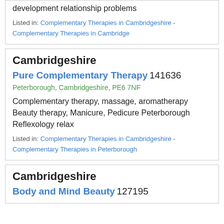development relationship problems
Listed in: Complementary Therapies in Cambridgeshire - Complementary Therapies in Cambridge
Cambridgeshire
Pure Complementary Therapy 141636
Peterborough, Cambridgeshire, PE6 7NF
Complementary therapy, massage, aromatherapy Beauty therapy, Manicure, Pedicure Peterborough Reflexology relax
Listed in: Complementary Therapies in Cambridgeshire - Complementary Therapies in Peterborough
Cambridgeshire
Body and Mind Beauty 127195